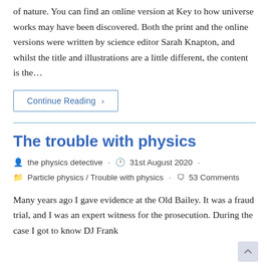of nature. You can find an online version at Key to how universe works may have been discovered. Both the print and the online versions were written by science editor Sarah Knapton, and whilst the title and illustrations are a little different, the content is the…
Continue Reading ›
The trouble with physics
the physics detective · 31st August 2020 · Particle physics / Trouble with physics · 53 Comments
Many years ago I gave evidence at the Old Bailey. It was a fraud trial, and I was an expert witness for the prosecution. During the case I got to know DJ Frank